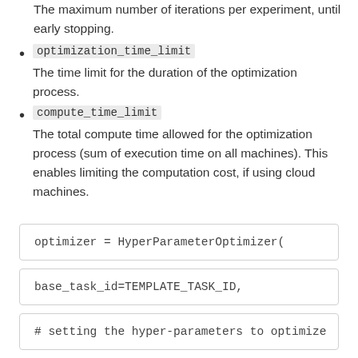The maximum number of iterations per experiment, until early stopping.
optimization_time_limit
The time limit for the duration of the optimization process.
compute_time_limit
The total compute time allowed for the optimization process (sum of execution time on all machines). This enables limiting the computation cost, if using cloud machines.
optimizer = HyperParameterOptimizer(
base_task_id=TEMPLATE_TASK_ID,
# setting the hyper-parameters to optimize